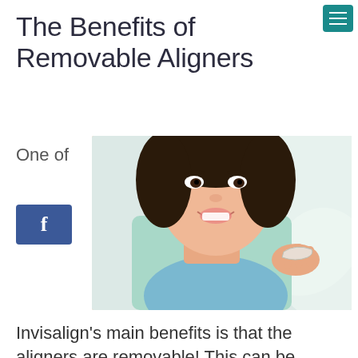The Benefits of Removable Aligners
One of
[Figure (photo): Young woman smiling and holding a clear dental aligner/retainer up near her face]
Invisalign's main benefits is that the aligners are removable! This can be helpful in patients' daily lives in a number of ways.